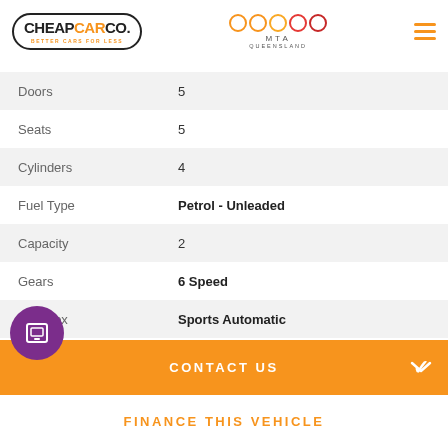[Figure (logo): CheapCarCo logo with oval border and MTA Queensland logo with colored rings]
| Specification | Value |
| --- | --- |
| Doors | 5 |
| Seats | 5 |
| Cylinders | 4 |
| Fuel Type | Petrol - Unleaded |
| Capacity | 2 |
| Gears | 6 Speed |
| Gearbox | Sports Automatic |
| Transmission | Automatic |
CONTACT US
FINANCE THIS VEHICLE